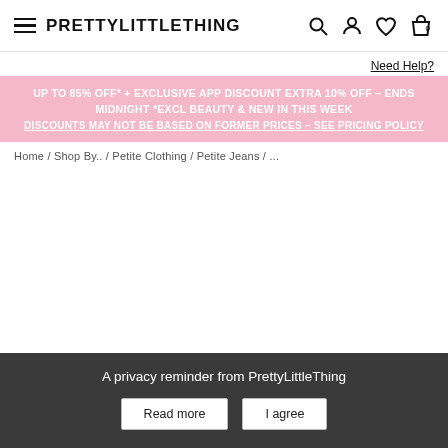PRETTYLITTLETHING
Need Help?
UP TO 85% OFF* + EXCLUSIVE APP DISCOUNT EXTRA 10% OFF – ENDS MIDNIGHT *EXCL BEAUTY & NEW IN THIS WEEK
DISCOUNTS MAY NOT BE BASED ON FORMER PRICES – SEE PRICING POLICY
Home / Shop By.. / Petite Clothing / Petite Jeans / ...
A privacy reminder from PrettyLittleThing